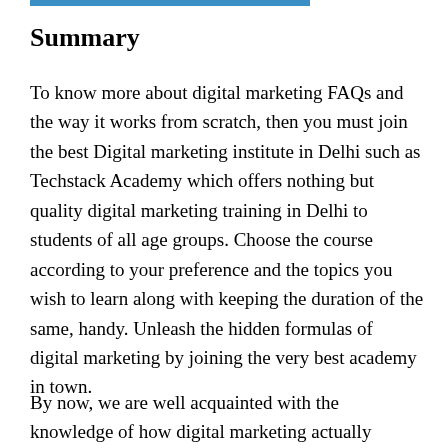Summary
To know more about digital marketing FAQs and the way it works from scratch, then you must join the best Digital marketing institute in Delhi such as Techstack Academy which offers nothing but quality digital marketing training in Delhi to students of all age groups. Choose the course according to your preference and the topics you wish to learn along with keeping the duration of the same, handy. Unleash the hidden formulas of digital marketing by joining the very best academy in town.
By now, we are well acquainted with the knowledge of how digital marketing actually works, what is it's do's